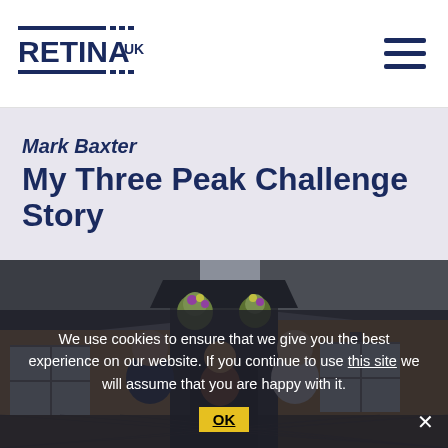RETINA UK
Mark Baxter
My Three Peak Challenge Story
[Figure (photo): Three people standing outside a brick building with hanging flower baskets and a black canopy entrance porch]
We use cookies to ensure that we give you the best experience on our website. If you continue to use this site we will assume that you are happy with it.
OK